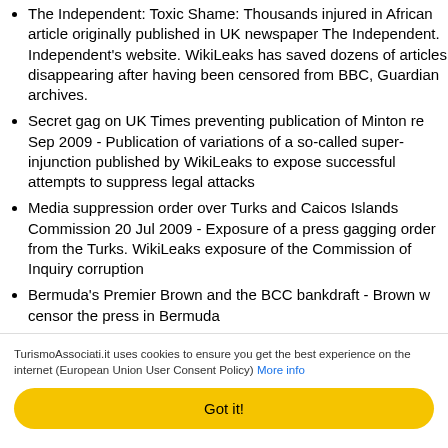The Independent: Toxic Shame: Thousands injured in African article originally published in UK newspaper The Independent. Independent's website. WikiLeaks has saved dozens of articles disappearing after having been censored from BBC, Guardian archives.
Secret gag on UK Times preventing publication of Minton re Sep 2009 - Publication of variations of a so-called super-injunction published by WikiLeaks to expose successful attempts to suppress legal attacks
Media suppression order over Turks and Caicos Islands Commission 20 Jul 2009 - Exposure of a press gagging order from the Turks. WikiLeaks exposure of the Commission of Inquiry corruption
Bermuda's Premier Brown and the BCC bankdraft - Brown w censor the press in Bermuda
How German intelligence infiltrated Focus magazine - Illega
Diplomacy, spying and (counter-)intelligence
U.S. Intelligence planned to destroy WikiLeaks, 18 Mar 2008
TurismoAssociati.it uses cookies to ensure you get the best experience on the internet (European Union User Consent Policy) More info
Got it!